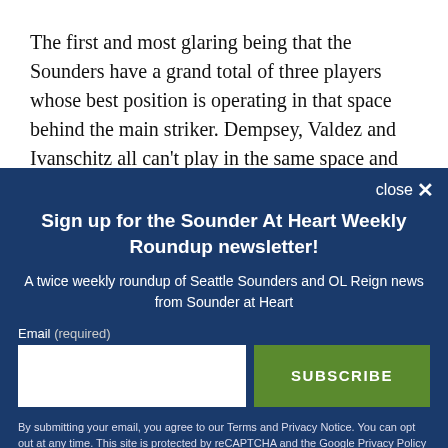The first and most glaring being that the Sounders have a grand total of three players whose best position is operating in that space behind the main striker. Dempsey, Valdez and Ivanschitz all can't play in the same space and this type of formation would require
close ✕
Sign up for the Sounder At Heart Weekly Roundup newsletter!
A twice weekly roundup of Seattle Sounders and OL Reign news from Sounder at Heart
Email (required)
SUBSCRIBE
By submitting your email, you agree to our Terms and Privacy Notice. You can opt out at any time. This site is protected by reCAPTCHA and the Google Privacy Policy and Terms of Service apply.